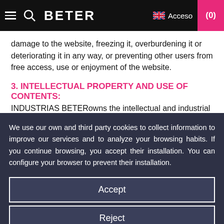BETER | Acceso | (0)
damage to the website, freezing it, overburdening it or deteriorating it in any way, or preventing other users from free access, use or enjoyment of the website.
3. INTELLECTUAL PROPERTY AND USE OF CONTENTS:
INDUSTRIAS BETERowns the intellectual and industrial
We use our own and third party cookies to collect information to improve our services and to analyze your browsing habits. If you continue browsing, you accept their installation. You can configure your browser to prevent their installation.
Accept
Reject
Cookies configuration